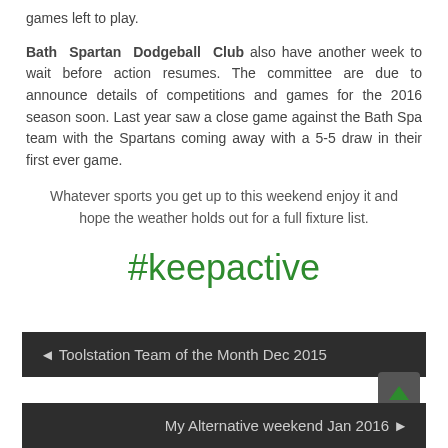games left to play.
Bath Spartan Dodgeball Club also have another week to wait before action resumes. The committee are due to announce details of competitions and games for the 2016 season soon. Last year saw a close game against the Bath Spa team with the Spartans coming away with a 5-5 draw in their first ever game.
Whatever sports you get up to this weekend enjoy it and hope the weather holds out for a full fixture list.
#keepactive
◄ Toolstation Team of the Month Dec 2015
My Alternative weekend Jan 2016 ►